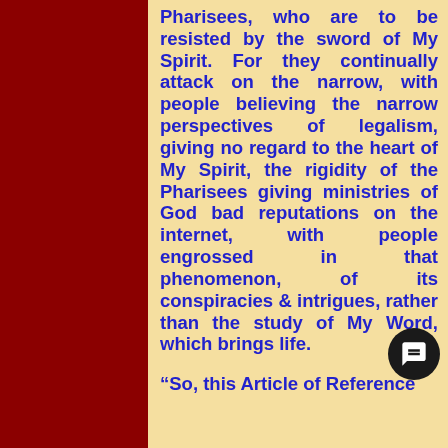Pharisees, who are to be resisted by the sword of My Spirit. For they continually attack on the narrow, with people believing the narrow perspectives of legalism, giving no regard to the heart of My Spirit, the rigidity of the Pharisees giving ministries of God bad reputations on the internet, with people engrossed in that phenomenon, of its conspiracies & intrigues, rather than the study of My Word, which brings life.

“So, this Article of Reference